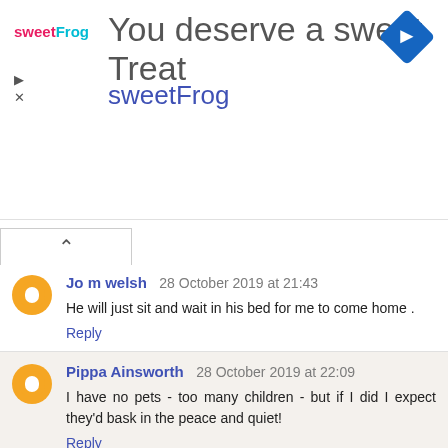[Figure (screenshot): Advertisement banner for sweetFrog with logo, text 'You deserve a sweet Treat' and 'sweetFrog', navigation/close icons, and a blue diamond navigation icon in the top right.]
Jo m welsh  28 October 2019 at 21:43
He will just sit and wait in his bed for me to come home .
Reply
Pippa Ainsworth  28 October 2019 at 22:09
I have no pets - too many children - but if I did I expect they'd bask in the peace and quiet!
Reply
Sophie Roberts  29 October 2019 at 07:02
Tearing the curtains down has been my cat's favourite, safe to say I wasn't impressed!